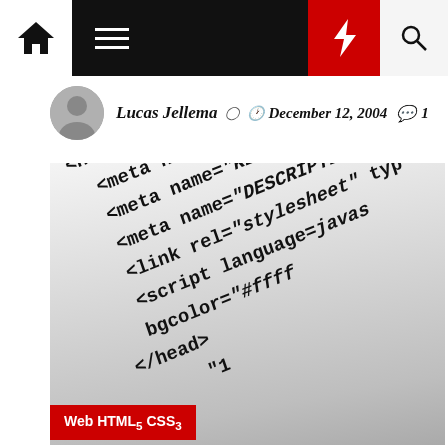Navigation bar with home, menu, flash, and search icons
Lucas Jellema  December 12, 2004  1
[Figure (photo): Close-up photo of HTML source code printed on white paper showing tags like <html>, <head>, <meta name='TITLE'>, <meta name='KEYWORDS'>, <meta name='DESCRIPTION'>, <link rel='stylesheet'>, <script language='java'>, </head>, bgcolor='#ffff']
IT
Oracle
Oracle WebLogic Server
Web HTML5 CSS3